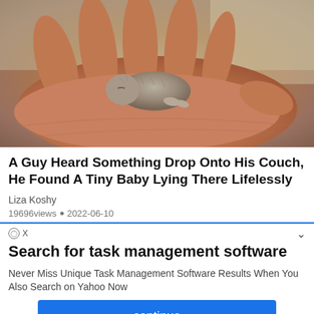[Figure (photo): Photo of a tiny newborn baby squirrel or similar small animal resting in the palm of a human hand, photographed indoors]
A Guy Heard Something Drop Onto His Couch, He Found A Tiny Baby Lying There Lifelessly
Liza Koshy
19696views • 2022-06-10
Search for task management software
Never Miss Unique Task Management Software Results When You Also Search on Yahoo Now
continue